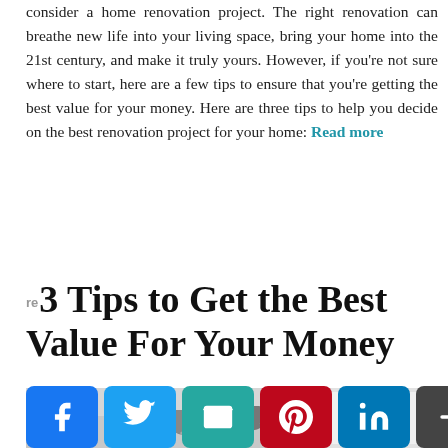consider a home renovation project. The right renovation can breathe new life into your living space, bring your home into the 21st century, and make it truly yours. However, if you're not sure where to start, here are a few tips to ensure that you're getting the best value for your money. Here are three tips to help you decide on the best renovation project for your home: Read more
re3 Tips to Get the Best Value For Your Money
[Figure (photo): Interior photo showing a kitchen or living space with pendant lights hanging from the ceiling, partially cropped at the bottom of the page.]